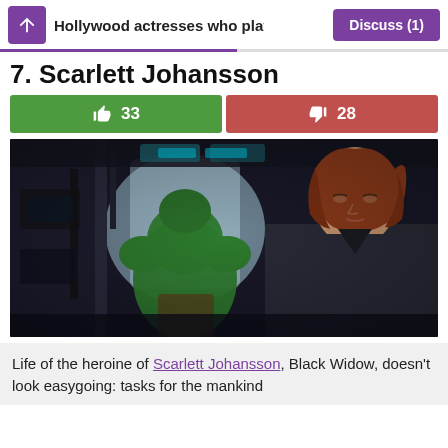Hollywood actresses who played   Discuss (1)
7. Scarlett Johansson
[Figure (photo): Movie still showing a red-haired woman in a dark suit (Black Widow / Scarlett Johansson) in the foreground, and a large green figure (Hulk) from behind in the background, inside a dark industrial/spaceship interior.]
Life of the heroine of Scarlett Johansson, Black Widow, doesn't look easygoing: tasks for the mankind